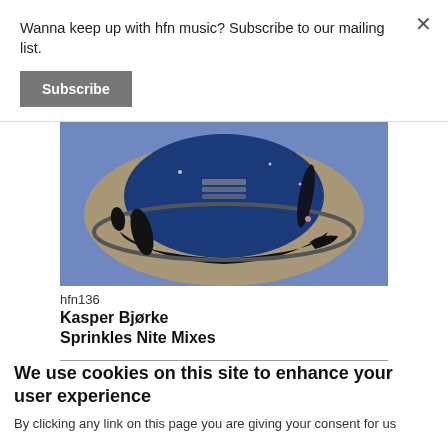Wanna keep up with hfn music? Subscribe to our mailing list.
Subscribe
[Figure (illustration): Album cover art for hfn136 Kasper Bjørke Sprinkles Nite Mixes — abstract artwork with blue background showing stylized smiley face / vinyl record shape in dark blue and tan/grey tones with black outlines]
hfn136
Kasper Bjørke
Sprinkles Nite Mixes
We use cookies on this site to enhance your user experience
By clicking any link on this page you are giving your consent for us